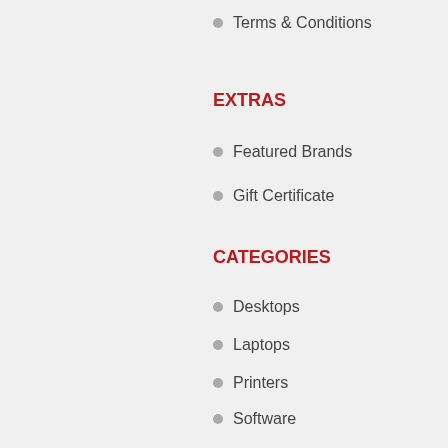Terms & Conditions
EXTRAS
Featured Brands
Gift Certificate
CATEGORIES
Desktops
Laptops
Printers
Software
Ink Supplies
TV and Audios
Gaming Console
Accessories
Office Supplies